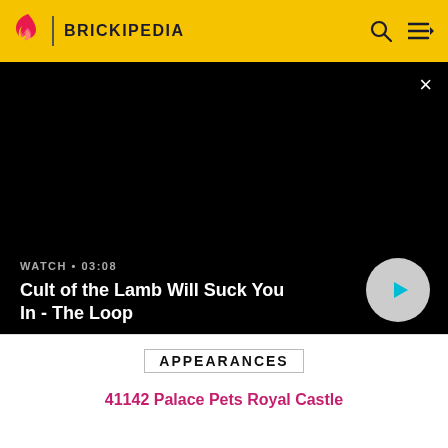BRICKIPEDIA
[Figure (screenshot): Black video player area with close button, watch duration label '03:08', video title 'Cult of the Lamb Will Suck You In - The Loop', and a circular play button]
APPEARANCES
41142 Palace Pets Royal Castle